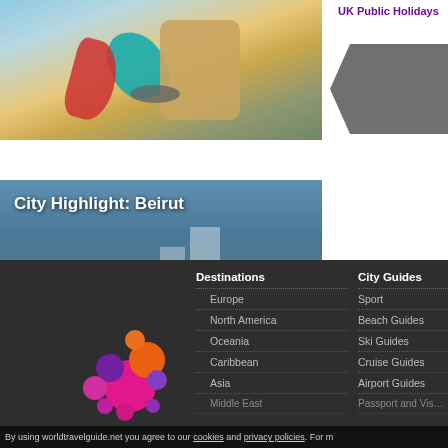[Figure (photo): Beach holiday items — sandals, sunglasses, bag — partial top view]
[Figure (photo): City Highlight: Beirut — aerial/coastal cityscape view]
UK Public Holidays
[Figure (other): Gray pentagon/arrow shape in sidebar]
Destinations
Europe
North America
Oceania
Caribbean
Asia
Middle East
City Guides
Sport
Beach Guides
Ski Guides
Cruise Guides
Airport Guides
Passport and Vis…
[Figure (logo): World Travel Guide colorful circle-dot logo]
By using worldtravelguide.net you agree to our cookies and privacy policies. For m…